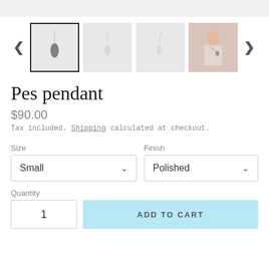[Figure (photo): Product image carousel showing 4 thumbnail images of a pendant necklace. First thumbnail is selected with a black border. Navigation arrows on both sides.]
Pes pendant
$90.00
Tax included. Shipping calculated at checkout.
Size
Small
Finish
Polished
Quantity
1
ADD TO CART